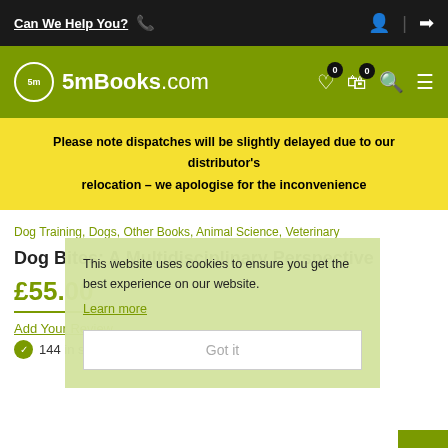Can We Help You? | icons: phone, account, login
5mBooks.com | wishlist (0), cart (0), search, menu
Please note dispatches will be slightly delayed due to our distributor's relocation – we apologise for the inconvenience
Dog Training, Dogs, Other Books, Animal Science, Veterinary
Dog Bites: A Multidisciplinary Perspective
This website uses cookies to ensure you get the best experience on our website.
Learn more
Got it
£55.00
Add Your Review
144 in stock